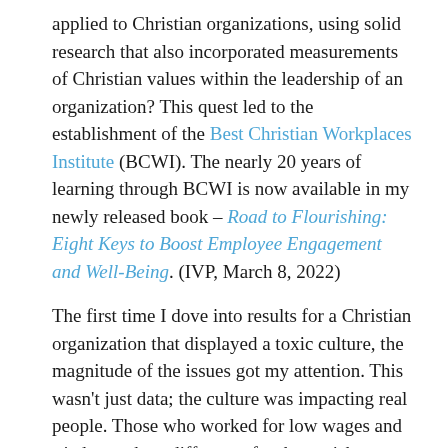applied to Christian organizations, using solid research that also incorporated measurements of Christian values within the leadership of an organization? This quest led to the establishment of the Best Christian Workplaces Institute (BCWI). The nearly 20 years of learning through BCWI is now available in my newly released book – Road to Flourishing: Eight Keys to Boost Employee Engagement and Well-Being. (IVP, March 8, 2022)
The first time I dove into results for a Christian organization that displayed a toxic culture, the magnitude of the issues got my attention. This wasn't just data; the culture was impacting real people. Those who worked for low wages and tried to make a difference for the at-risk children they served were suffering because of the workplace culture. And the children this ministry